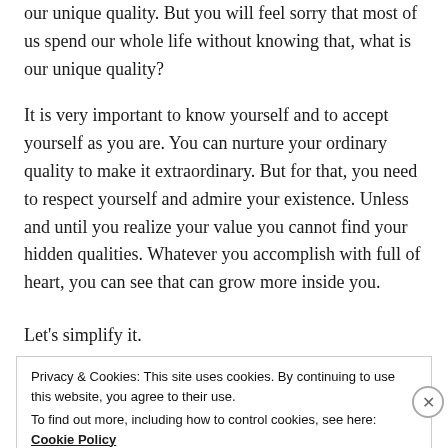our unique quality. But you will feel sorry that most of us spend our whole life without knowing that, what is our unique quality?
It is very important to know yourself and to accept yourself as you are. You can nurture your ordinary quality to make it extraordinary. But for that, you need to respect yourself and admire your existence. Unless and until you realize your value you cannot find your hidden qualities. Whatever you accomplish with full of heart, you can see that can grow more inside you.
Let's simplify it.
Privacy & Cookies: This site uses cookies. By continuing to use this website, you agree to their use.
To find out more, including how to control cookies, see here: Cookie Policy